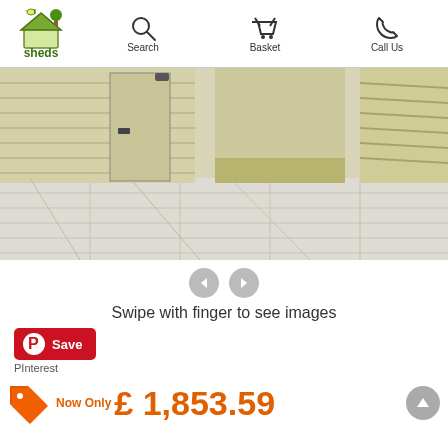Home | Search | Basket | Call Us
[Figure (photo): Wooden shed with open doorway showing interior floor, horizontal timber cladding exterior, and adjacent decking area with light-coloured wood panels.]
Swipe with finger to see images
[Figure (other): Pinterest Save button]
PInterest
Now Only £ 1,853.59